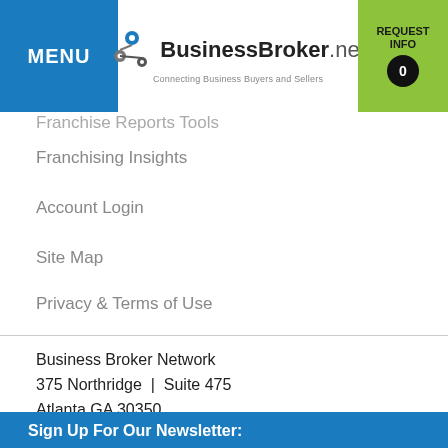BusinessBroker.net — Connecting Business Buyers and Sellers
Franchise Reports Tools
Franchising Insights
Account Login
Site Map
Privacy & Terms of Use
Business Broker Network
375 Northridge | Suite 475
Atlanta GA 30350
Sign Up For Our Newsletter:
Get updated on the latest franchise and business opportunities.